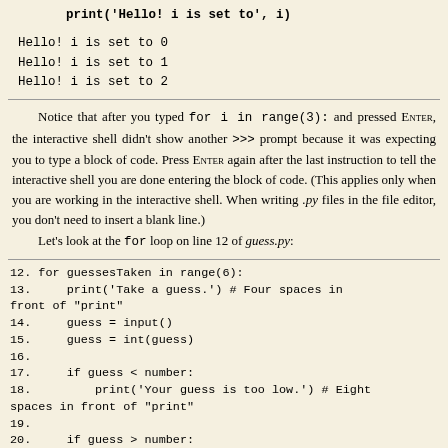print('Hello! i is set to', i)
Hello! i is set to 0
Hello! i is set to 1
Hello! i is set to 2
Notice that after you typed for i in range(3): and pressed ENTER, the interactive shell didn't show another >>> prompt because it was expecting you to type a block of code. Press ENTER again after the last instruction to tell the interactive shell you are done entering the block of code. (This applies only when you are working in the interactive shell. When writing .py files in the file editor, you don't need to insert a blank line.)
    Let's look at the for loop on line 12 of guess.py:
12. for guessesTaken in range(6):
13.     print('Take a guess.') # Four spaces in front of "print"
14.     guess = input()
15.     guess = int(guess)
16.
17.     if guess < number:
18.         print('Your guess is too low.') # Eight spaces in front of "print"
19.
20.     if guess > number:
21.         print('Your guess is too high.')